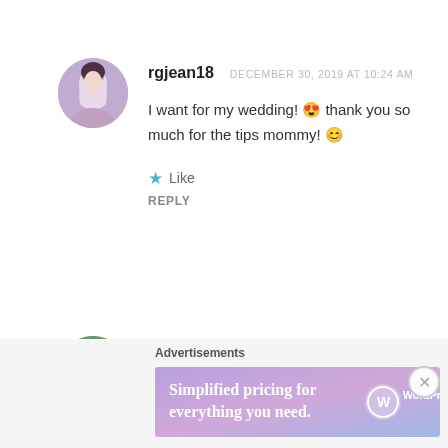[Figure (photo): Circular avatar photo of a young woman]
rgjean18   DECEMBER 30, 2019 AT 10:24 AM
I want for my wedding! 😍 thank you so much for the tips mommy! 😊
★ Like
REPLY
[Figure (photo): Circular avatar photo of a group of people]
Advertisements
[Figure (screenshot): WordPress.com advertisement banner: Simplified pricing for everything you need.]